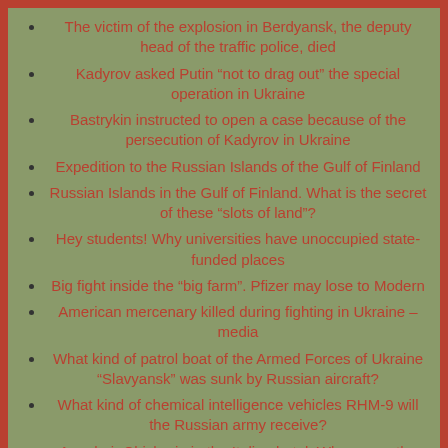The victim of the explosion in Berdyansk, the deputy head of the traffic police, died
Kadyrov asked Putin “not to drag out” the special operation in Ukraine
Bastrykin instructed to open a case because of the persecution of Kadyrov in Ukraine
Expedition to the Russian Islands of the Gulf of Finland
Russian Islands in the Gulf of Finland. What is the secret of these “slots of land”?
Hey students! Why universities have unoccupied state-funded places
Big fight inside the “big farm”. Pfizer may lose to Modern
American mercenary killed during fighting in Ukraine – media
What kind of patrol boat of the Armed Forces of Ukraine “Slavyansk” was sunk by Russian aircraft?
What kind of chemical intelligence vehicles RHM-9 will the Russian army receive?
Armchair Chicherin in the Italian hotel. Where was the Treaty of Rapallo signed?